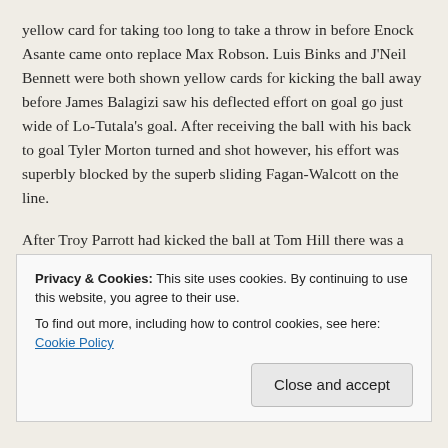yellow card for taking too long to take a throw in before Enock Asante came onto replace Max Robson. Luis Binks and J'Neil Bennett were both shown yellow cards for kicking the ball away before James Balagizi saw his deflected effort on goal go just wide of Lo-Tutala's goal. After receiving the ball with his back to goal Tyler Morton turned and shot however, his effort was superbly blocked by the superb sliding Fagan-Walcott on the line.
After Troy Parrott had kicked the ball at Tom Hill there was a brief coming together between both sets of players. After Asante had passed the ball fo Cooper the skilful winger had a late effort saved by Harvey Davies before the referee brought a thrilling game to an end.
Player reviews:
Privacy & Cookies: This site uses cookies. By continuing to use this website, you agree to their use. To find out more, including how to control cookies, see here: Cookie Policy
Dermi Lusala: The right back had a good game and he was